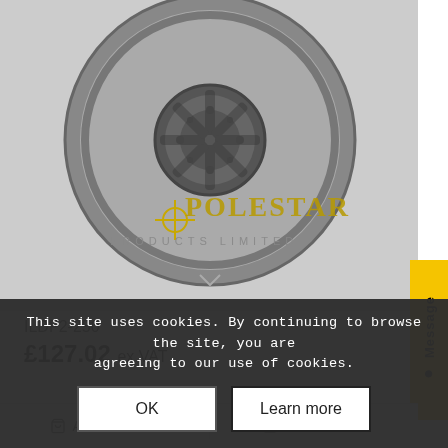[Figure (photo): Centrifugal inline duct fan, round grey metal fan viewed from front, with Polestar Products Limited logo watermark overlaid on the image]
ILDF2-250
£127.02 ex VAT
Add to basket
Show Details
This site uses cookies. By continuing to browse the site, you are agreeing to our use of cookies.
OK
Learn more